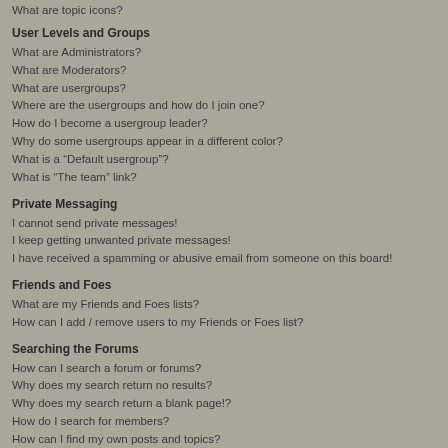What are topic icons?
User Levels and Groups
What are Administrators?
What are Moderators?
What are usergroups?
Where are the usergroups and how do I join one?
How do I become a usergroup leader?
Why do some usergroups appear in a different color?
What is a “Default usergroup”?
What is “The team” link?
Private Messaging
I cannot send private messages!
I keep getting unwanted private messages!
I have received a spamming or abusive email from someone on this board!
Friends and Foes
What are my Friends and Foes lists?
How can I add / remove users to my Friends or Foes list?
Searching the Forums
How can I search a forum or forums?
Why does my search return no results?
Why does my search return a blank page!?
How do I search for members?
How can I find my own posts and topics?